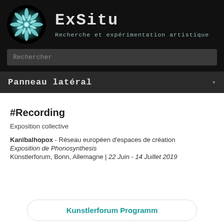[Figure (logo): Circular snowflake-like teal/blue glowing logo on black background]
ExSitu
Recherche et expérimentation artistique
Rechercher
Panneau latéral
#Recording
Exposition collective
Kanïbalhopox - Réseau européen d'espaces de création
Exposition de Phonosynthesis
Künstlerforum, Bonn, Allemagne | 22 Juin - 14 Juillet 2019
Kunstlerforum Programm